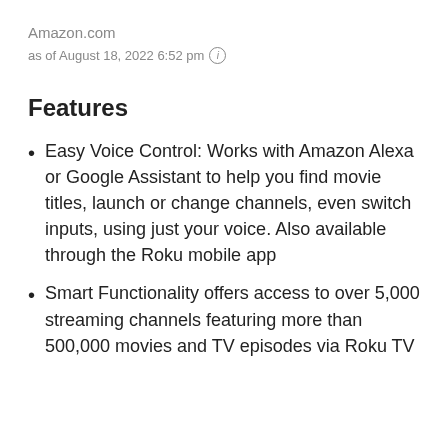Amazon.com
as of August 18, 2022 6:52 pm ℹ
Features
Easy Voice Control: Works with Amazon Alexa or Google Assistant to help you find movie titles, launch or change channels, even switch inputs, using just your voice. Also available through the Roku mobile app
Smart Functionality offers access to over 5,000 streaming channels featuring more than 500,000 movies and TV episodes via Roku TV